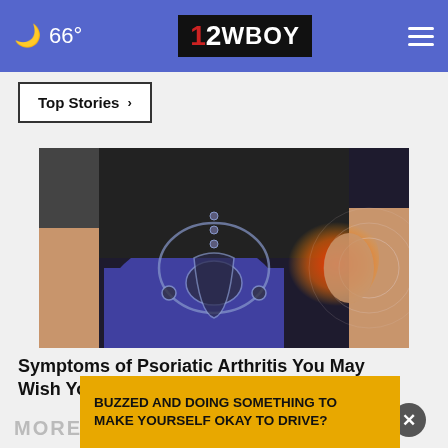66° | 12WBOY
Top Stories >
[Figure (photo): Medical illustration showing psoriatic arthritis pain in the hip/lower back area, with a person in purple pants and highlighted red inflammation area over the pelvis and hip joint]
Symptoms of Psoriatic Arthritis You May Wish You Knew Sooner
Ad by Psoriatic Arthritis | Sponsore
MORE
BUZZED AND DOING SOMETHING TO MAKE YOURSELF OKAY TO DRIVE?